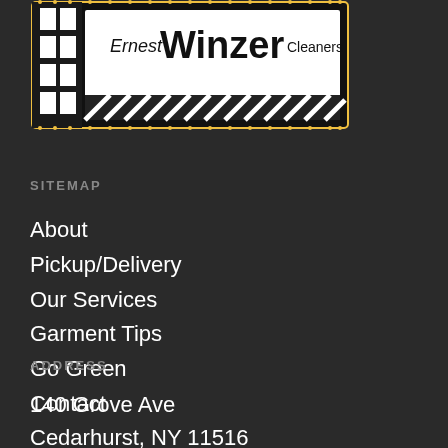[Figure (logo): Ernest Winzer Cleaners logo with film strip / marquee border design, black and white with gold dots]
SITEMAP
About
Pickup/Delivery
Our Services
Garment Tips
Go Green
Contact
ADDRESS
140 Grove Ave
Cedarhurst, NY 11516